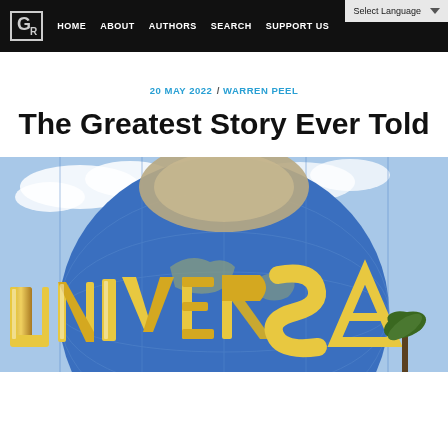GR | HOME | ABOUT | AUTHORS | SEARCH | SUPPORT US | Select Language
20 MAY 2022 / WARREN PEEL
The Greatest Story Ever Told
[Figure (photo): Universal Studios globe sign with golden letters spelling UNIVERSAL on a blue globe, photographed against a partly cloudy sky with palm trees visible in the background.]